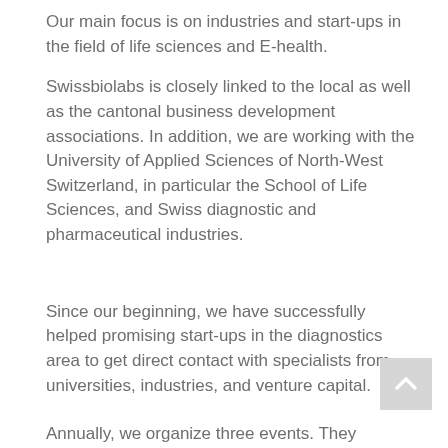Our main focus is on industries and start-ups in the field of life sciences and E-health.
Swissbiolabs is closely linked to the local as well as the cantonal business development associations. In addition, we are working with the University of Applied Sciences of North-West Switzerland, in particular the School of Life Sciences, and Swiss diagnostic and pharmaceutical industries.
Since our beginning, we have successfully helped promising start-ups in the diagnostics area to get direct contact with specialists from universities, industries, and venture capital.
Annually, we organize three events. They